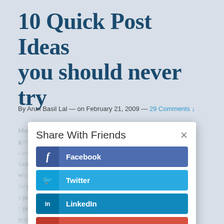10 Quick Post Ideas you should never try
By Arun Basil Lal — on February 21, 2009 — 29 Comments ↓
[Figure (screenshot): A modal dialog titled 'Share With Friends' with an X close button, overlaid on top of an article page. The modal contains four social sharing buttons: Facebook (dark blue), Twitter (light blue), LinkedIn (medium blue), and Gmail (red). Each button has an icon on the left and the service name in bold on the right.]